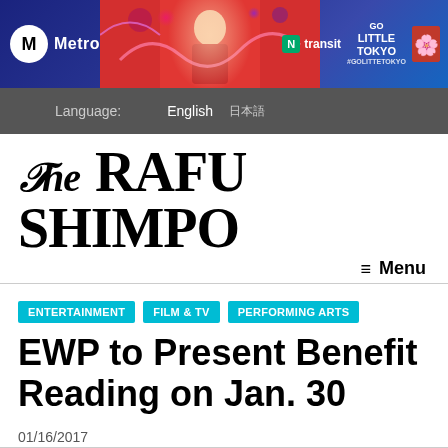[Figure (screenshot): Metro and Go Little Tokyo banner advertisement with a photo of a child in red traditional performance costume, transit logos on right side]
Language:   English   日本語
The Rafu Shimpo
≡ Menu
ENTERTAINMENT
FILM & TV
PERFORMING ARTS
EWP to Present Benefit Reading on Jan. 30
01/16/2017